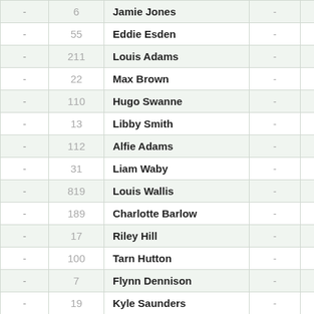|  |  | Name |  |  |
| --- | --- | --- | --- | --- |
| - | 6 | Jamie Jones | - | - |
| - | 55 | Eddie Esden | - | - |
| - | 211 | Louis Adams | - | - |
| - | 22 | Max Brown | - | - |
| - | 110 | Hugo Swanne | - | - |
| - | 13 | Libby Smith | - | - |
| - | 112 | Alfie Adams | - | - |
| - | 31 | Liam Waby | - | - |
| - | 819 | Louis Wallis | - | - |
| - | 189 | Charlotte Barlow | - | - |
| - | 17 | Riley Hill | - | - |
| - | 100 | Tarn Hutton | - | - |
| - | 7 | Flynn Dennison | - | - |
| - | 19 | Kyle Saunders | - | - |